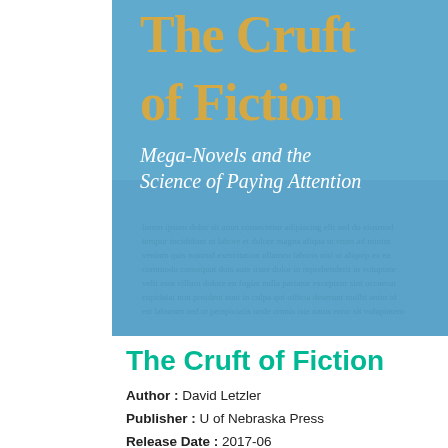[Figure (illustration): Book cover of 'The Cruft of Fiction: Mega-Novels and the Science of Paying Attention' with a blue textured background, gold title text, and white subtitle text.]
The Cruft of Fiction
Author : David Letzler
Publisher : U of Nebraska Press
Release Date : 2017-06